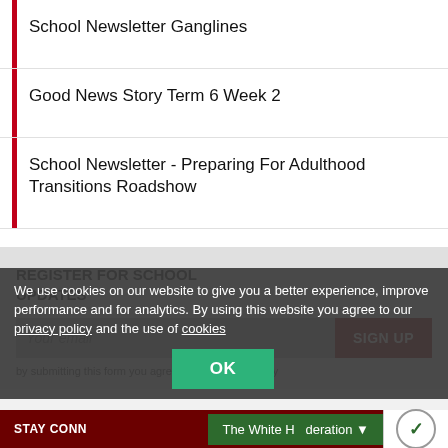School Newsletter Ganglines
Good News Story Term 6 Week 2
School Newsletter - Preparing For Adulthood Transitions Roadshow
REGISTER FOR SCHOOL UPDATES
Your email
SIGN UP
by submitting this form you agree to our privacy policy
We use cookies on our website to give you a better experience, improve performance and for analytics. By using this website you agree to our privacy policy and the use of cookies
OK
STAY CONN
The White H  deration